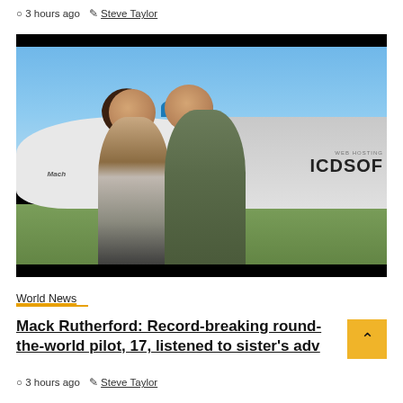3 hours ago  Steve Taylor
[Figure (photo): Two people standing in front of a small aircraft on an airfield. One wears a green striped top with a beige cardigan, the other wears an olive flight suit and blue cap. Aircraft has 'Mach' text and 'ICDSOFT' sponsor branding visible. Photo has black bars top and bottom.]
World News
Mack Rutherford: Record-breaking round-the-world pilot, 17, listened to sister's adv
3 hours ago  Steve Taylor